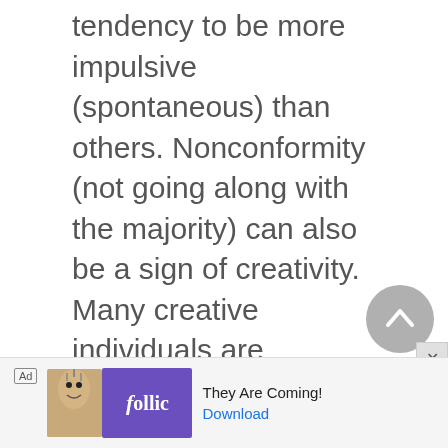tendency to be more impulsive (spontaneous) than others. Nonconformity (not going along with the majority) can also be a sign of creativity. Many creative individuals are naturally unafraid of experimenting with new things; furthermore, creative people are often less susceptible to peer pressure, perhaps because they also tend to be self-reliant and unafraid to voice their true feelings...
[Figure (other): Advertisement banner at bottom: Ad label, bird illustration, purple Follic logo, 'They Are Coming!' text, Download button]